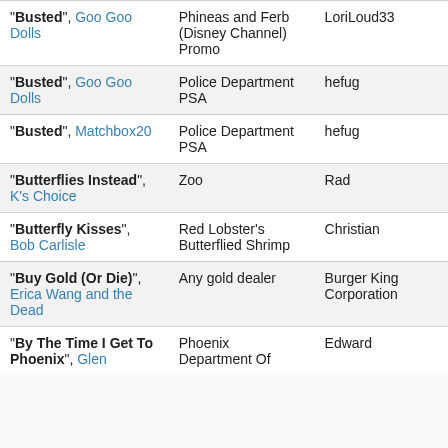| "Busted", Goo Goo Dolls | Phineas and Ferb (Disney Channel) Promo | LoriLoud33 |
| "Busted", Goo Goo Dolls | Police Department PSA | hefug |
| "Busted", Matchbox20 | Police Department PSA | hefug |
| "Butterflies Instead", K's Choice | Zoo | Rad |
| "Butterfly Kisses", Bob Carlisle | Red Lobster's Butterflied Shrimp | Christian |
| "Buy Gold (Or Die)", Erica Wang and the Dead | Any gold dealer | Burger King Corporation |
| "By The Time I Get To Phoenix", Glen | Phoenix Department Of | Edward |